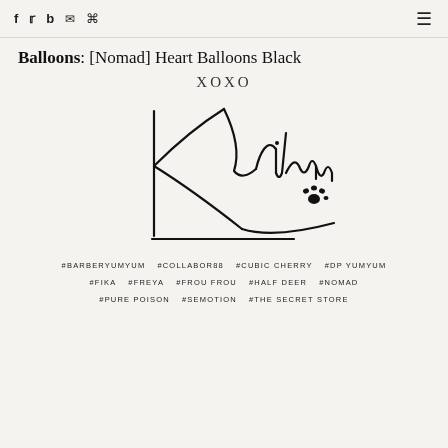f  Twitter  b  email  rss  ≡
Balloons: [Nomad] Heart Balloons Black
[Figure (illustration): XOXO text above a handwritten cursive signature reading 'Kurilmu' with a paw print icon, on a cream background]
#BARBERYUMYUM  #COLLABOR88  #CUBIC CHERRY  #DP YUMYUM
#FIKA  #FREYA  #FROU FROU  #HALF DEER  #NOMAD
#PURE POISON  #SEMOTION  #THE SECRET STORE